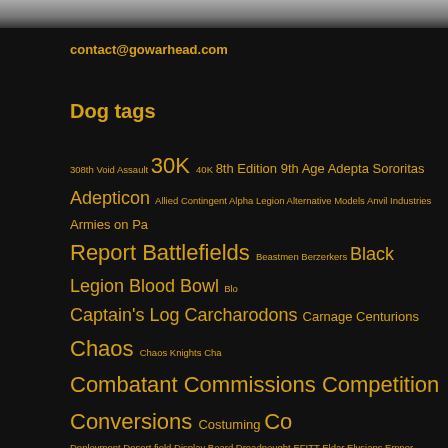contact@gowarhead.com
Dog tags
308th Void Assault 30K 40K 8th Edition 9th Age Adepta Sororitas Adepticon Allied Contingent Alpha Legion Alternative Models Anvil Industries Armies on Pa Report Battlefields Beastmen Berzerkers Black Legion Blood Bowl Blo Captain's Log Carcharodons Carnage Centurions Chaos Chaos Knights Cha Combatant Commissions Competition Conversions Costuming Co Deployment Desert field Display Board Dreadnought EFITT Eldar Elysians Emper Force Facebook Fair Fanatic Fantasy Battle Field Couture Fight Club Final Libe Workshop Gaming Board Gaming Space Geardo Genestealer Cult Ghost Guard Elves Historicals Hive Fleet Nostromo Hobby stores Hordes Horus Heresy Ho Warriors Journeyman League Kadillus Isle Kanhorde Käyttökoulutus Keepsakes K Liberators Lifesize Live Stream Lizardmen Lunar Prime Maanantaistelu Mant Tempestus Model Compilation Model Expo Musings Mygamestore Necromunda Opening Operation Arrowhead Orcs Orks Painting Brigade Painting Contest P Profile Promotion Propaganda Rankings Recruitment Renegades Rogue Trader Ro Shadespire Shadow War Sisters of Battle Size Comparison Skeletor Slaanesh Snop Space Wolves SpecOps Speed Freeks Spiel 2013 Spiel 2014 Sponsorship Star W Emperor Talvisota Tanks Tau Empire Team Finland Teaser Templars Terrain Th